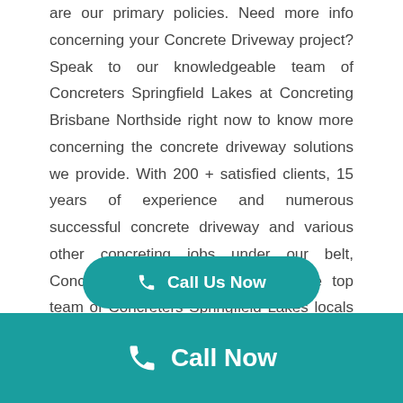are our primary policies. Need more info concerning your Concrete Driveway project? Speak to our knowledgeable team of Concreters Springfield Lakes at Concreting Brisbane Northside right now to know more concerning the concrete driveway solutions we provide. With 200 + satisfied clients, 15 years of experience and numerous successful concrete driveway and various other concreting jobs under our belt, Concreting Brisbane Northside is the top team of Concreters Springfield Lakes locals rely upon.
[Figure (other): Teal rounded button with phone icon and text 'Call Us Now']
Call Now